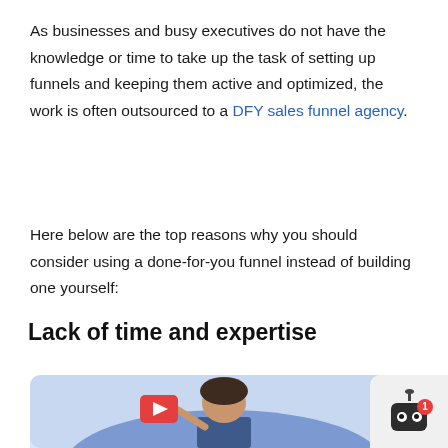As businesses and busy executives do not have the knowledge or time to take up the task of setting up funnels and keeping them active and optimized, the work is often outsourced to a DFY sales funnel agency.
Here below are the top reasons why you should consider using a done-for-you funnel instead of building one yourself:
Lack of time and expertise
[Figure (illustration): Illustration of a person holding a YouTube-like play button icon, partially visible, with a light blue background. A chat bot widget with robot face and notification badge is visible in the bottom-right corner.]